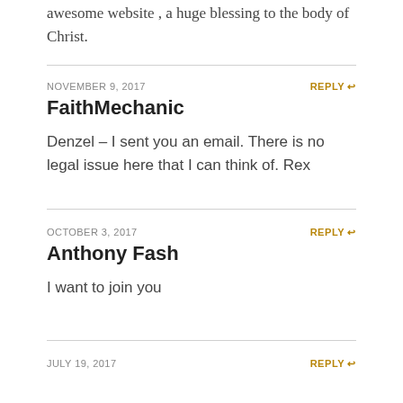awesome website , a huge blessing to the body of Christ.
NOVEMBER 9, 2017
REPLY
FaithMechanic
Denzel – I sent you an email. There is no legal issue here that I can think of. Rex
OCTOBER 3, 2017
REPLY
Anthony Fash
I want to join you
JULY 19, 2017
REPLY